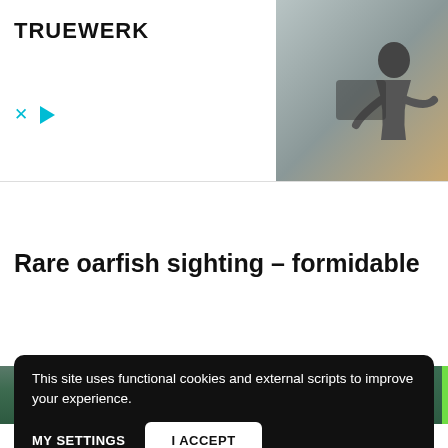[Figure (screenshot): Advertisement banner for TRUEWERK brand showing logo on left, X and play controls, and a photo of a man crouching outdoors on the right]
[Figure (photo): Teal/green water background banner with a white chevron-up icon in a white rounded box on the left and a green accent on the right]
Rare oarfish sighting – formidable
[Figure (photo): Dark video thumbnail showing an outdoor wooden structure scene, partially obscured by cookie consent overlay]
This site uses functional cookies and external scripts to improve your experience.
MY SETTINGS
I ACCEPT